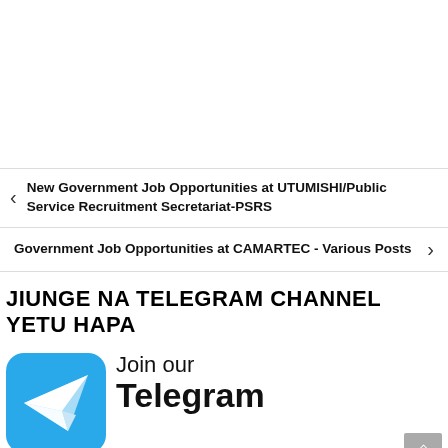New Government Job Opportunities at UTUMISHI/Public Service Recruitment Secretariat-PSRS
Government Job Opportunities at CAMARTEC - Various Posts
JIUNGE NA TELEGRAM CHANNEL YETU HAPA
[Figure (logo): Telegram channel promotional banner showing Telegram paper plane logo on blue background with text 'Join our Telegram Channel']